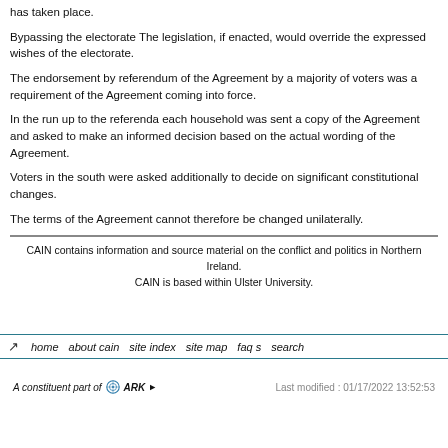has taken place.
Bypassing the electorate The legislation, if enacted, would override the expressed wishes of the electorate.
The endorsement by referendum of the Agreement by a majority of voters was a requirement of the Agreement coming into force.
In the run up to the referenda each household was sent a copy of the Agreement and asked to make an informed decision based on the actual wording of the Agreement.
Voters in the south were asked additionally to decide on significant constitutional changes.
The terms of the Agreement cannot therefore be changed unilaterally.
CAIN contains information and source material on the conflict and politics in Northern Ireland. CAIN is based within Ulster University.
home   about cain   site index   site map   faq s   search
A constituent part of ARK   Last modified : 01/17/2022 13:52:53